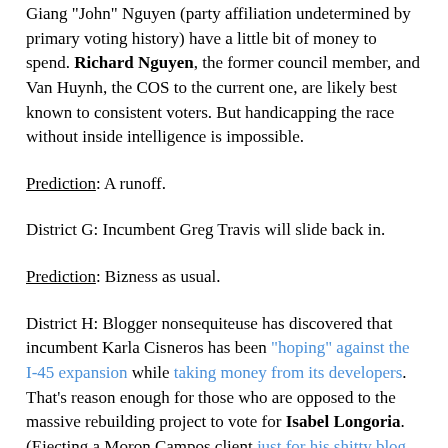Giang "John" Nguyen (party affiliation undetermined by primary voting history) have a little bit of money to spend. Richard Nguyen, the former council member, and Van Huynh, the COS to the current one, are likely best known to consistent voters.  But handicapping the race without inside intelligence is impossible.
Prediction: A runoff.
District G:  Incumbent Greg Travis will slide back in.
Prediction: Bizness as usual.
District H:  Blogger nonsequiteuse has discovered that incumbent Karla Cisneros has been "hoping" against the I-45 expansion while taking money from its developers. That's reason enough for those who are opposed to the massive rebuilding project to vote for Isabel Longoria. (Ejecting a Moron Campos client just for his shitty blog would be reason enough for me, but YMMV.)
Prediction: I suppose we'll see.  I hope Cisneros is jammed